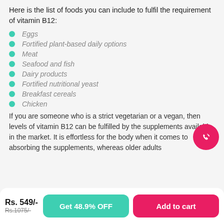Here is the list of foods you can include to fulfil the requirement of vitamin B12:
Eggs
Fortified plant-based daily options
Meat
Seafood and fish
Dairy products
Fortified nutritional yeast
Breakfast cereals
Chicken
If you are someone who is a strict vegetarian or a vegan, then levels of vitamin B12 can be fulfilled by the supplements available in the market. It is effortless for the body when it comes to absorbing the supplements, whereas older adults
[Figure (other): Pink circular phone/call button icon]
Rs. 549/- Rs.1075/-
Get 48.9% OFF
Add to cart